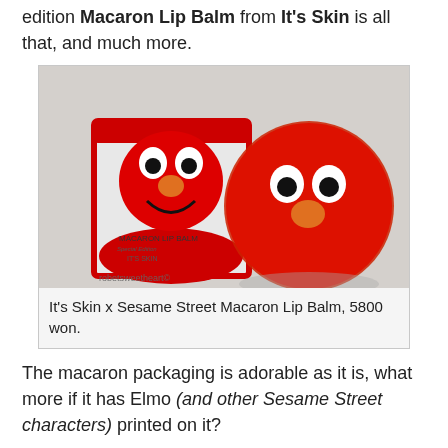edition Macaron Lip Balm from It's Skin is all that, and much more.
[Figure (photo): Photo of It's Skin x Sesame Street Macaron Lip Balm product — a red Elmo-faced box and a round red Elmo-faced lip balm container on a light background. Watermark: robetsweetheart©]
It's Skin x Sesame Street Macaron Lip Balm, 5800 won.
The macaron packaging is adorable as it is, what more if it has Elmo (and other Sesame Street characters) printed on it?
[Figure (photo): Second product photo (partially visible, cut off at bottom of page)]